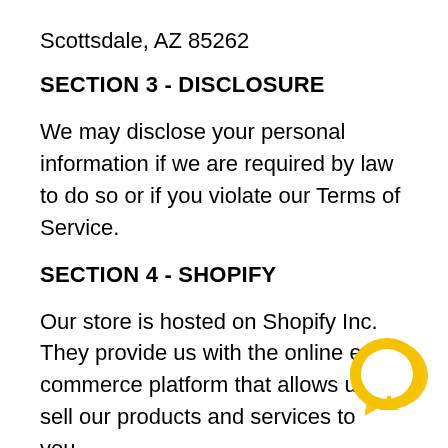Scottsdale, AZ 85262
SECTION 3 - DISCLOSURE
We may disclose your personal information if we are required by law to do so or if you violate our Terms of Service.
SECTION 4 - SHOPIFY
Our store is hosted on Shopify Inc. They provide us with the online e-commerce platform that allows us to sell our products and services to you. Your data is stored through Shopify's data storage, databases and the general